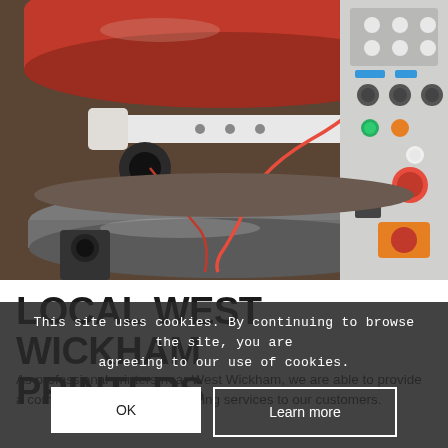[Figure (photo): Close-up photograph of an industrial printing machine showing red rollers, chrome cylinders, white mechanical arm with red wiring, and a control panel with buttons and indicator lights on the right side.]
LOCAL WEST WICKHAM PRINTERS
As professional printers near West Wickham, we are able to provide a comprehensive range of printing services to our customers.
This site uses cookies. By continuing to browse the site, you are agreeing to our use of cookies.